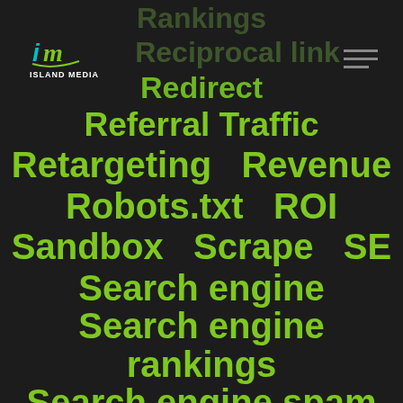[Figure (logo): Island Media logo with stylized 'im' letters and teal/green text 'ISLAND MEDIA']
Rankings
Reciprocal link
Redirect
Referral Traffic
Retargeting  Revenue
Robots.txt  ROI
Sandbox  Scrape  SE
Search engine
Search engine rankings

Search engine spam
Search Lost IS (budget)
Search Lost IS (rank)
SEM  SEO
SEO compliant  SERP
Sessions  Sitemap